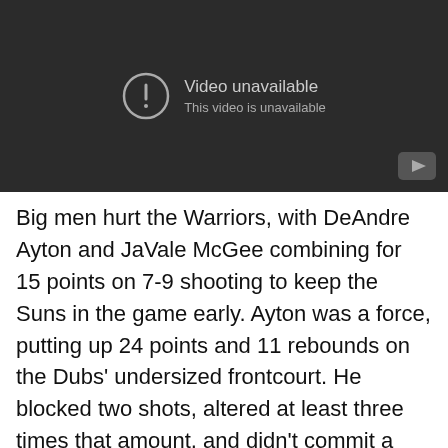[Figure (screenshot): YouTube video player showing 'Video unavailable' error message with exclamation circle icon and YouTube logo in bottom right corner on dark background.]
Big men hurt the Warriors, with DeAndre Ayton and JaVale McGee combining for 15 points on 7-9 shooting to keep the Suns in the game early. Ayton was a force, putting up 24 points and 11 rebounds on the Dubs' undersized frontcourt. He blocked two shots, altered at least three times that amount, and didn't commit a single foul while ably guarding out on the perimeter on switches. Usually Steph Curry matched up with a center thirty feet from the basket means he's feasting. Last night, Ayton hung in there and even blocked a three. Who doesn't Phoenix think this review on the